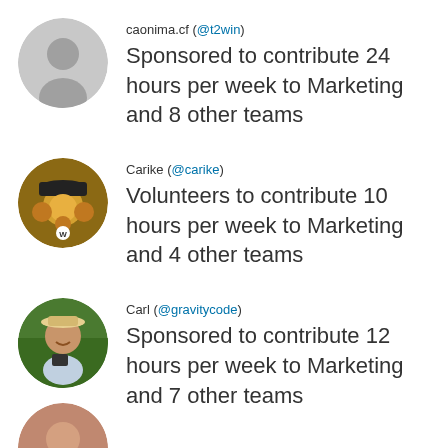caonima.cf (@t2win) Sponsored to contribute 24 hours per week to Marketing and 8 other teams
Carike (@carike) Volunteers to contribute 10 hours per week to Marketing and 4 other teams
Carl (@gravitycode) Sponsored to contribute 12 hours per week to Marketing and 7 other teams
[Figure (photo): Partial circular avatar photo at bottom of page]